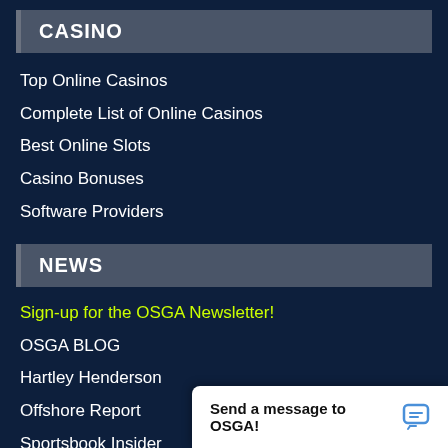CASINO
Top Online Casinos
Complete List of Online Casinos
Best Online Slots
Casino Bonuses
Software Providers
NEWS
Sign-up for the OSGA Newsletter!
OSGA BLOG
Hartley Henderson
Offshore Report
Sportsbook Insider
U.S. Regulations
Gaming Articles
World Gaming News
Press Releases
Blacklist Updates
Send a message to OSGA!